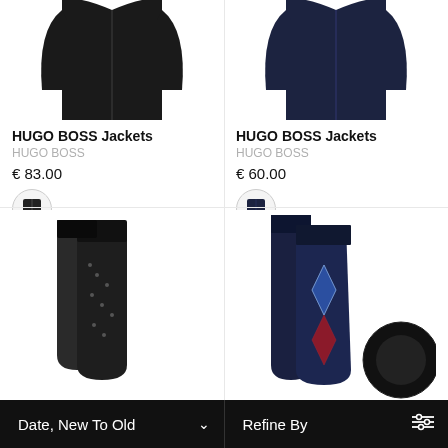[Figure (photo): Hugo Boss black jacket product image, top portion cropped]
HUGO BOSS Jackets
HUGO BOSS
€ 83.00
[Figure (photo): Small black jacket color swatch thumbnail]
[Figure (photo): Hugo Boss navy blue zip-up jacket product image, top portion cropped]
HUGO BOSS Jackets
HUGO BOSS
€ 60.00
[Figure (photo): Small navy jacket color swatch thumbnail]
[Figure (photo): Hugo Boss dark patterned socks product image, partially cropped at bottom]
[Figure (photo): Hugo Boss argyle patterned socks in blue and red, partially cropped, with circular logo partially visible]
Date, New To Old
Refine By